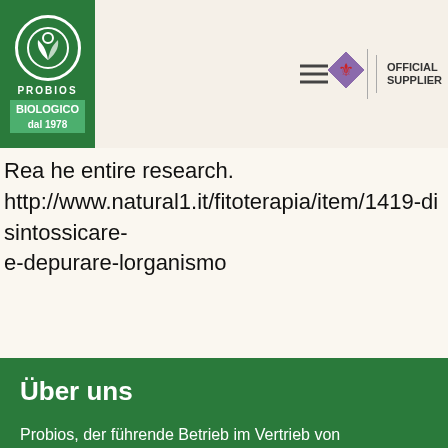[Figure (logo): Probios Biologico dal 1978 logo — green badge with white circle, text PROBIOS, BIOLOGICO dal 1978]
Read the entire research.
http://www.natural1.it/fitoterapia/item/1419-disintossicare-e-depurare-lorganismo
Über uns
Probios, der führende Betrieb im Vertrieb von ökologischen vegetarischen Lebensmitteln in Italien, fördert seit 35 Jahren den Anbau von Rohstoffen unter Rücksichtnahme auf Mensch und Natur und widmet sich seit vielen Jahren der Schaffung und dem Vertrieb von Produktlinien, die für Menschen geeignet sind, die spezielle Diäten einhalten müssen.